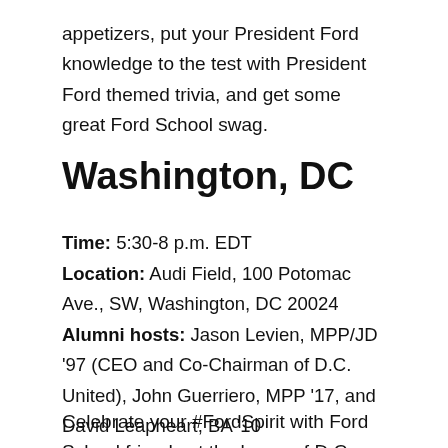appetizers, put your President Ford knowledge to the test with President Ford themed trivia, and get some great Ford School swag.
Washington, DC
Time: 5:30-8 p.m. EDT
Location: Audi Field, 100 Potomac Ave., SW, Washington, DC 20024
Alumni hosts: Jason Levien, MPP/JD '97 (CEO and Co-Chairman of D.C. United), John Guerriero, MPP '17, and David Leapheart, BA '10
Celebrate your #FordSpirit with Ford School friends at the home of D.C. United (and channel your inner Ted Lasso). See yourself on the big screen, get your photo